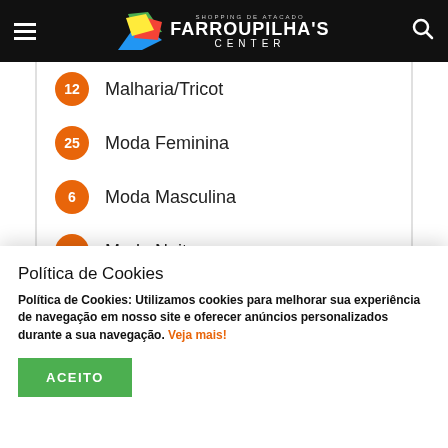Farroupilha's Center - Shopping de Atacado
12 Malharia/Tricot
25 Moda Feminina
6 Moda Masculina
2 Moda Noite
2 Moda Praia
2 Moletom
Pijamas e Camisolas (partially visible)
Política de Cookies
Política de Cookies: Utilizamos cookies para melhorar sua experiência de navegação em nosso site e oferecer anúncios personalizados durante a sua navegação. Veja mais!
ACEITO